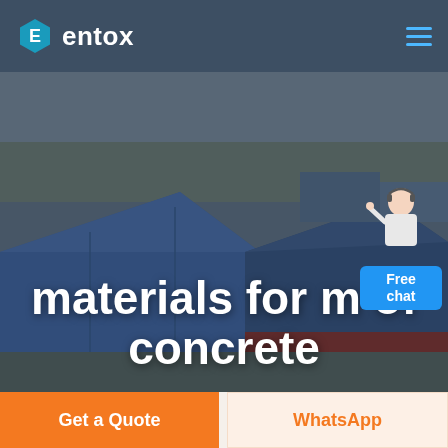[Figure (logo): Entox logo: hexagon icon with letter E and text 'entox' in white on dark blue-grey header bar]
[Figure (photo): Aerial view of large industrial warehouse complex with blue roofs, overlaid with dark semi-transparent overlay. Text overlay reads 'materials for m of concrete' in large bold white font.]
Free chat
Get a Quote
WhatsApp